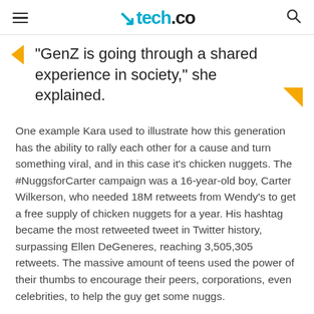tech.co
“GenZ is going through a shared experience in society,” she explained.
One example Kara used to illustrate how this generation has the ability to rally each other for a cause and turn something viral, and in this case it’s chicken nuggets. The #NuggsforCarter campaign was a 16-year-old boy, Carter Wilkerson, who needed 18M retweets from Wendy’s to get a free supply of chicken nuggets for a year. His hashtag became the most retweeted tweet in Twitter history, surpassing Ellen DeGeneres, reaching 3,505,305 retweets. The massive amount of teens used the power of their thumbs to encourage their peers, corporations, even celebrities, to help the guy get some nuggs.